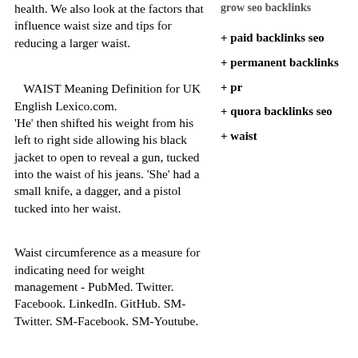health. We also look at the factors that influence waist size and tips for reducing a larger waist.
WAIST Meaning Definition for UK English Lexico.com.
'He' then shifted his weight from his left to right side allowing his black jacket to open to reveal a gun, tucked into the waist of his jeans. 'She' had a small knife, a dagger, and a pistol tucked into her waist.
Waist circumference as a measure for indicating need for weight management - PubMed. Twitter. Facebook. LinkedIn. GitHub. SM-Twitter. SM-Facebook. SM-Youtube.
+ grow seo backlinks
+ paid backlinks seo
+ permanent backlinks
+ pr
+ quora backlinks seo
+ waist